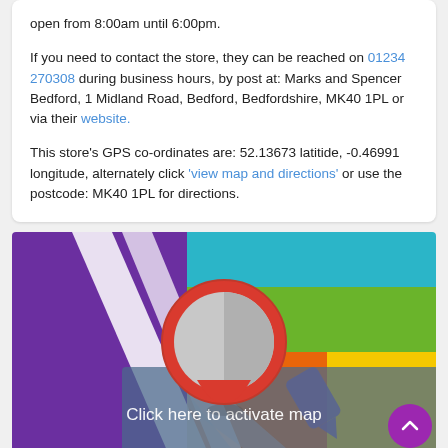open from 8:00am until 6:00pm.

If you need to contact the store, they can be reached on 01234 270308 during business hours, by post at: Marks and Spencer Bedford, 1 Midland Road, Bedford, Bedfordshire, MK40 1PL or via their website.

This store's GPS co-ordinates are: 52.13673 latitide, -0.46991 longitude, alternately click 'view map and directions' or use the postcode: MK40 1PL for directions.
[Figure (map): Interactive map placeholder showing a colorful map background with a red location pin in the center and a semi-transparent overlay with the text 'Click here to activate map'. A purple scroll-to-top button appears in the bottom right corner.]